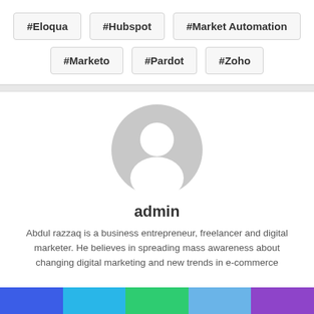#Eloqua
#Hubspot
#Market Automation
#Marketo
#Pardot
#Zoho
[Figure (illustration): Generic grey avatar/profile placeholder icon showing a person silhouette]
admin
Abdul razzaq is a business entrepreneur, freelancer and digital marketer. He believes in spreading mass awareness about changing digital marketing and new trends in e-commerce
[Figure (infographic): Horizontal color bar at the bottom with five segments: blue, cyan/sky blue, green, light blue, purple]